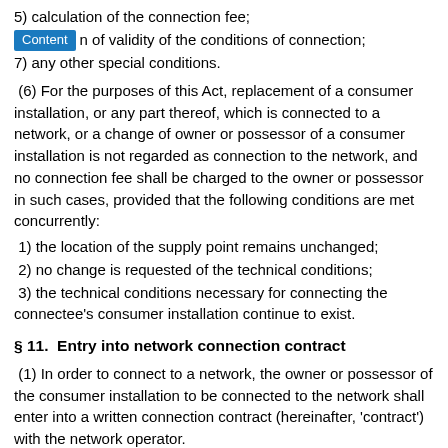5) calculation of the connection fee;
6) period of validity of the conditions of connection;
7) any other special conditions.
(6) For the purposes of this Act, replacement of a consumer installation, or any part thereof, which is connected to a network, or a change of owner or possessor of a consumer installation is not regarded as connection to the network, and no connection fee shall be charged to the owner or possessor in such cases, provided that the following conditions are met concurrently:
1) the location of the supply point remains unchanged;
2) no change is requested of the technical conditions;
3) the technical conditions necessary for connecting the connectee's consumer installation continue to exist.
§ 11.  Entry into network connection contract
(1) In order to connect to a network, the owner or possessor of the consumer installation to be connected to the network shall enter into a written connection contract (hereinafter, 'contract') with the network operator.
(2) The contract shall, amongst other things, determine:
1) the supply point;